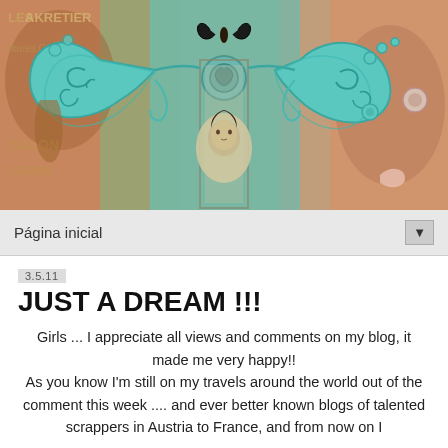[Figure (illustration): Decorative blog header image showing a vintage collage with a turquoise/teal ornate iron butterfly or dragonfly decoration, a sepia-tone portrait of a young girl inside a frame, butterflies, roses, and mixed vintage ephemera in warm and teal tones. Text fragments 'LES', 'AKRETIER', 'SALON', 'SSOBS' visible.]
Página inicial ▼
3.5.11
JUST A DREAM !!!
Girls ... I appreciate all views and comments on my blog, it made me very happy!! As you know I'm still on my travels around the world out of the comment this week .... and ever better known blogs of talented scrappers in Austria to France, and from now on I will...